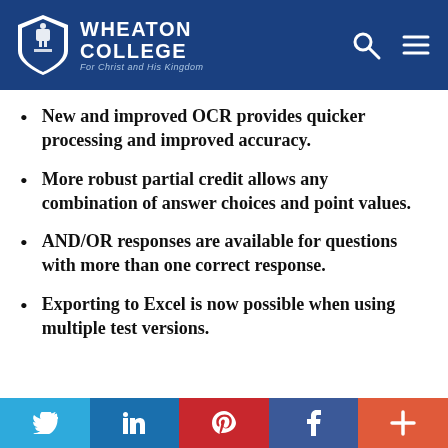Wheaton College — For Christ and His Kingdom
New and improved OCR provides quicker processing and improved accuracy.
More robust partial credit allows any combination of answer choices and point values.
AND/OR responses are available for questions with more than one correct response.
Exporting to Excel is now possible when using multiple test versions.
Social share bar: Twitter, LinkedIn, Pinterest, Facebook, More